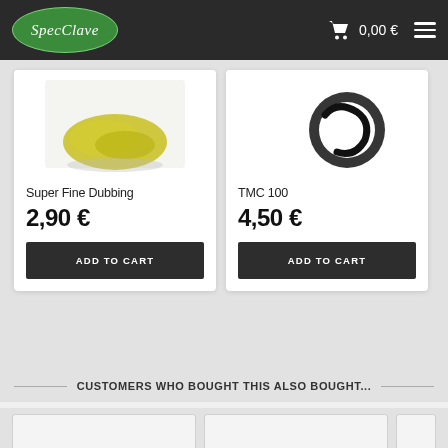SpecClave — 0,00 €
Super Fine Dubbing
2,90 €
ADD TO CART
TMC 100
4,50 €
ADD TO CART
CUSTOMERS WHO BOUGHT THIS ALSO BOUGHT...